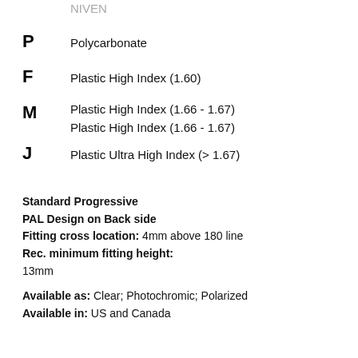P — Polycarbonate
F — Plastic High Index (1.60)
M — Plastic High Index (1.66 - 1.67)
Plastic High Index (1.66 - 1.67)
J — Plastic Ultra High Index (> 1.67)
Standard Progressive
PAL Design on Back side
Fitting cross location: 4mm above 180 line
Rec. minimum fitting height:
13mm

Available as: Clear; Photochromic; Polarized
Available in: US and Canada